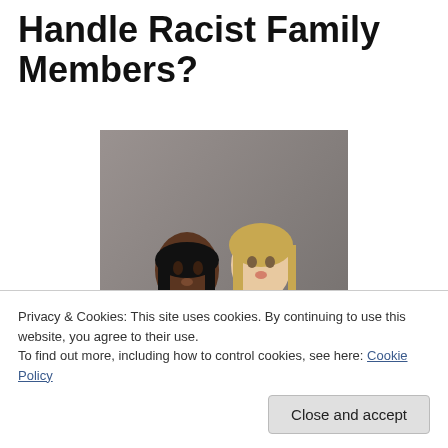Handle Racist Family Members?
[Figure (photo): Two women posing together against a gray background. One woman has dark skin and long straight black hair wearing a dark top. The other woman has light skin and blonde hair wearing a gray/lavender dress.]
Privacy & Cookies: This site uses cookies. By continuing to use this website, you agree to their use.
To find out more, including how to control cookies, see here: Cookie Policy
Close and accept